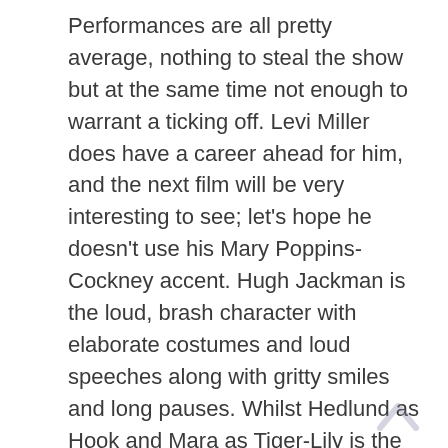Performances are all pretty average, nothing to steal the show but at the same time not enough to warrant a ticking off. Levi Miller does have a career ahead for him, and the next film will be very interesting to see; let's hope he doesn't use his Mary Poppins-Cockney accent. Hugh Jackman is the loud, brash character with elaborate costumes and loud speeches along with gritty smiles and long pauses. Whilst Hedlund as Hook and Mara as Tiger-Lily is the thrown together romance of the film, they both clearly aren't pushing their acting abilities and it's shown in their delivery and leaning towards attractive looks and easy puns. Throw in a couple of really awkward scenes involving Nirvana and The Ramones songs, which still thinking about it, makes no sense and actually angered myself, it's a